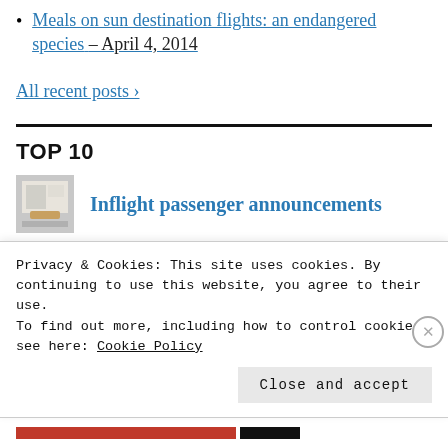Meals on sun destination flights: an endangered species – April 4, 2014
All recent posts ›
TOP 10
[Figure (photo): Thumbnail image of inflight content, showing a card/document with orange element]
Inflight passenger announcements
Privacy & Cookies: This site uses cookies. By continuing to use this website, you agree to their use.
To find out more, including how to control cookies, see here: Cookie Policy
Close and accept